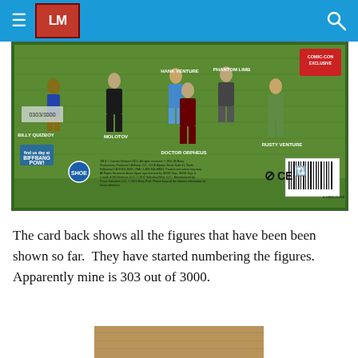LM logo and navigation header
[Figure (photo): Back of a Comic-Con exclusive action figure card showing multiple figures (Billy Quizboy, Molotov, Hank Venture, Phantom Limb, Doctor Orpheus, Rusty Venture) on a green grass background, with numbering 0303/3000, SHOE logo, barcode, CE mark, and fine print text.]
The card back shows all the figures that have been been shown so far.  They have started numbering the figures.  Apparently mine is 303 out of 3000.
[Figure (photo): Partial bottom photo showing a brown/tan surface, cropped at bottom of page.]